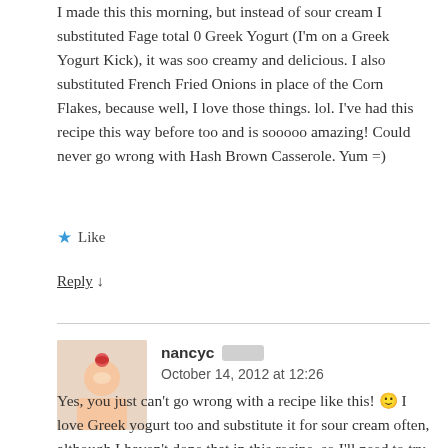I made this this morning, but instead of sour cream I substituted Fage total 0 Greek Yogurt (I'm on a Greek Yogurt Kick), it was soo creamy and delicious. I also substituted French Fried Onions in place of the Corn Flakes, because well, I love those things. lol. I've had this recipe this way before too and is sooooo amazing! Could never go wrong with Hash Brown Casserole. Yum =)
★ Like
Reply ↓
nancyc
October 14, 2012 at 12:26
Yes, you just can't go wrong with a recipe like this! 🙂 I love Greek yogurt too and substitute it for sour cream often, although I haven't done that in this recipe, so I'll need to try it!